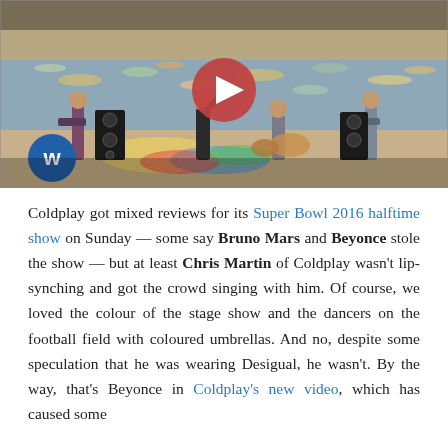[Figure (screenshot): Video thumbnail showing Coldplay band performing outdoors near water with boats in background. A large play button is centered on the image. Warner Bros records logo (W) appears in bottom left corner.]
Coldplay got mixed reviews for its Super Bowl 2016 halftime show on Sunday — some say Bruno Mars and Beyonce stole the show — but at least Chris Martin of Coldplay wasn't lip-synching and got the crowd singing with him. Of course, we loved the colour of the stage show and the dancers on the football field with coloured umbrellas. And no, despite some speculation that he was wearing Desigual, he wasn't. By the way, that's Beyonce in Coldplay's new video, which has caused some